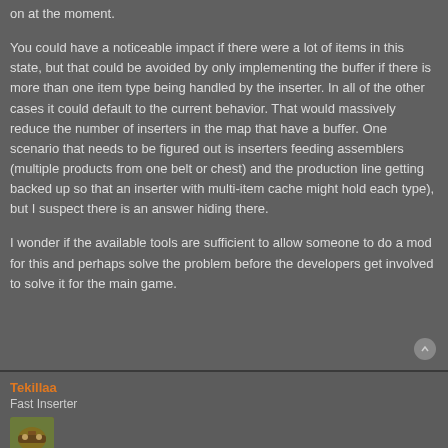on at the moment.
You could have a noticeable impact if there were a lot of items in this state, but that could be avoided by only implementing the buffer if there is more than one item type being handled by the inserter. In all of the other cases it could default to the current behavior. That would massively reduce the number of inserters in the map that have a buffer. One scenario that needs to be figured out is inserters feeding assemblers (multiple products from one belt or chest) and the production line getting backed up so that an inserter with multi-item cache might hold each type), but I suspect there is an answer hiding there.
I wonder if the available tools are sufficient to allow someone to do a mod for this and perhaps solve the problem before the developers get involved to solve it for the main game.
Tekillaa
Fast Inserter